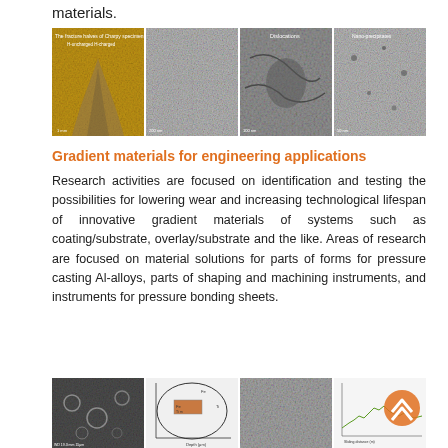materials.
[Figure (photo): Four microscopy images arranged in a horizontal strip: fracture surface of Charpy specimen (H-charged/H-charged), SEM micrograph of microstructure, TEM image labeled Dislocations, and TEM image labeled Nano-precipitates.]
Gradient materials for engineering applications
Research activities are focused on identification and testing the possibilities for lowering wear and increasing technological lifespan of innovative gradient materials of systems such as coating/substrate, overlay/substrate and the like. Areas of research are focused on material solutions for parts of forms for pressure casting Al-alloys, parts of shaping and machining instruments, and instruments for pressure bonding sheets.
[Figure (photo): Four images in a horizontal strip at the bottom: SEM image of particle microstructure, a graph/plot with inset sample image, SEM surface image, and a line graph with orange circle overlay logo.]